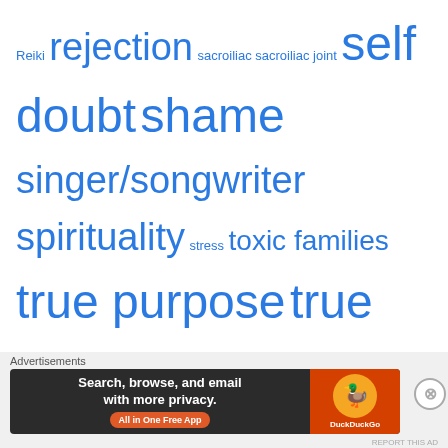Reiki rejection sacroiliac sacroiliac joint self doubt shame singer/songwriter spirituality stress toxic families true purpose true self true voice truth vitality You Can Heal Your Life
Top Posts & Pages
A Healing Poem for Sensitive Souls with a Narcissistic Mother on 11-11.
Portrait of an INFP 😌
HOME
Portrait of an INFJ--and Info. About The Types 💡
Part 2--More Helpful Tips for HSPs With A Narcissistic Parent
The Connection To Learned Helplessness in Highly Sensitive People (HSPs)
[Figure (screenshot): DuckDuckGo advertisement banner: 'Search, browse, and email with more privacy. All in One Free App' with DuckDuckGo logo on orange background]